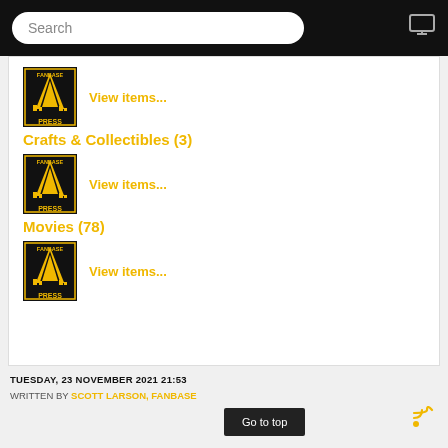Search
View items...
Crafts & Collectibles (3)
View items...
Movies (78)
View items...
TUESDAY, 23 NOVEMBER 2021 21:53
WRITTEN BY SCOTT LARSON, FANBASE... RIBUTOR